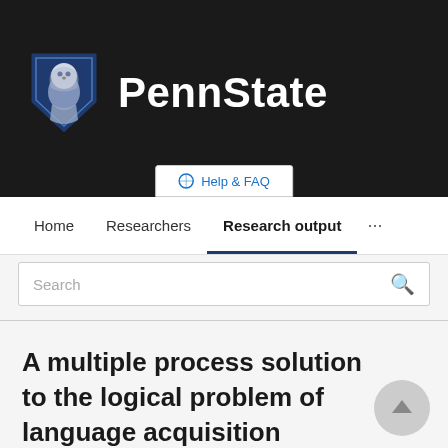[Figure (logo): Penn State University logo with lion shield and PennState text in white on black background]
Help & FAQ
Home   Researchers   Research output   ...
Search
A multiple process solution to the logical problem of language acquisition